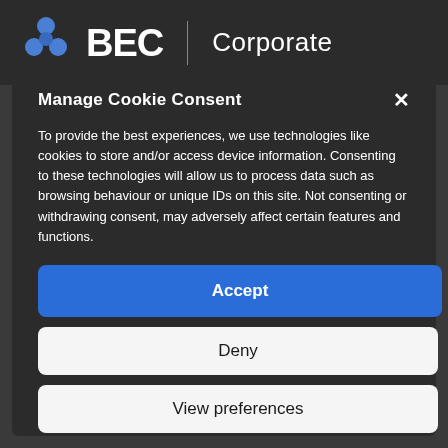[Figure (logo): BEC Corporate logo with blue hexagonal icon, large white BEC text, vertical divider, and 'Corporate' text]
Manage Cookie Consent
To provide the best experiences, we use technologies like cookies to store and/or access device information. Consenting to these technologies will allow us to process data such as browsing behaviour or unique IDs on this site. Not consenting or withdrawing consent, may adversely affect certain features and functions.
Accept
Deny
View preferences
Cookie Policy   Privacy Policy